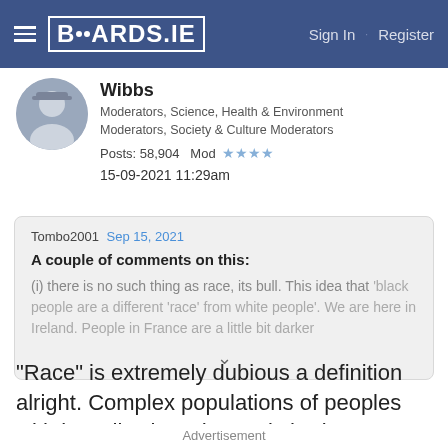BOARDS.IE  Sign In · Register
Wibbs
Moderators, Science, Health & Environment Moderators, Society & Culture Moderators
Posts: 58,904    Mod ★★★★
15-09-2021 11:29am
Tombo2001  Sep 15, 2021
A couple of comments on this:
(i) there is no such thing as race, its bull. This idea that 'black people are a different 'race' from white people'. We are here in Ireland. People in France are a little bit darker
"Race" is extremely dubious a definition alright. Complex populations of peoples with broadly shared genetic heritage over time with some regional overlap fits better, though is a bit of a mouthful. 🟡 Those
Advertisement